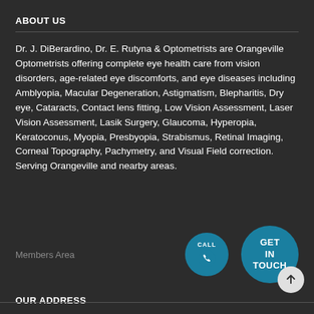ABOUT US
Dr. J. DiBerardino, Dr. E. Rutyna & Optometrists are Orangeville Optometrists offering complete eye health care from vision disorders, age-related eye discomforts, and eye diseases including Amblyopia, Macular Degeneration, Astigmatism, Blepharitis, Dry eye, Cataracts, Contact lens fitting, Low Vision Assessment, Laser Vision Assessment, Lasik Surgery, Glaucoma, Hyperopia, Keratoconus, Myopia, Presbyopia, Strabismus, Retinal Imaging, Corneal Topography, Pachymetry, and Visual Field correction. Serving Orangeville and nearby areas.
Members Area
[Figure (illustration): Teal circle button with phone/call icon and CALL label]
[Figure (illustration): Teal circle button with GET IN TOUCH text]
OUR ADDRESS